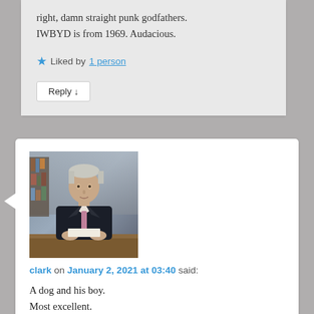right, damn straight punk godfathers. IWBYD is from 1969. Audacious.
Liked by 1 person
Reply ↓
[Figure (photo): Avatar photo of a man in a dark suit with grey/white hair, sitting at a desk holding a book or paper, bookshelves visible in background.]
clark on January 2, 2021 at 03:40 said:
A dog and his boy.
Most excellent.
(Nicely done. Not merely in sustaining the 'initial identities' but executing the twist as simply as you did… not sure exactly how, but am sure it caused a delayed recognition which made for a stronger impact.)